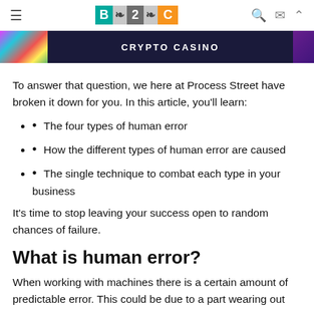B2C logo with hamburger menu and icons
[Figure (photo): Banner image with colorful casino/gaming imagery and text 'CRYPTO CASINO' on dark background]
To answer that question, we here at Process Street have broken it down for you. In this article, you'll learn:
The four types of human error
How the different types of human error are caused
The single technique to combat each type in your business
It's time to stop leaving your success open to random chances of failure.
What is human error?
When working with machines there is a certain amount of predictable error. This could be due to a part wearing out